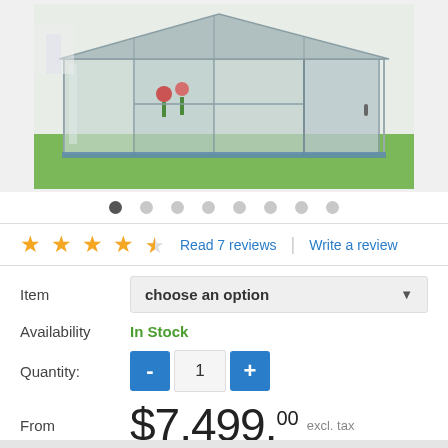[Figure (photo): Photo of a greenhouse/garden shed with transparent panels, aluminum frame, and a door with flowers visible inside, on a lawn.]
● ○ ○ ○ ○ ○ ○ ○  (image carousel dots)
★★★★½  Read 7 reviews  |  Write a review
Item   [choose an option ▼]
Availability   In Stock
Quantity:  -  1  +
From  $7,499.00  excl. tax